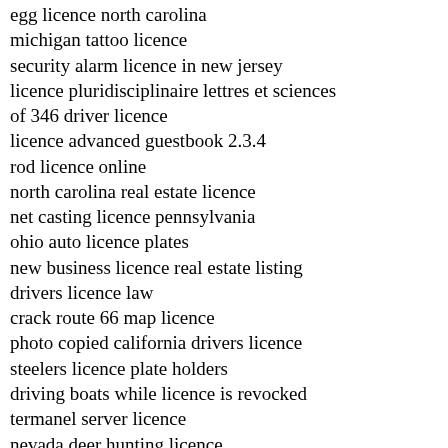egg licence north carolina
michigan tattoo licence
security alarm licence in new jersey
licence pluridisciplinaire lettres et sciences
of 346 driver licence
licence advanced guestbook 2.3.4
rod licence online
north carolina real estate licence
net casting licence pennsylvania
ohio auto licence plates
new business licence real estate listing
drivers licence law
crack route 66 map licence
photo copied california drivers licence
steelers licence plate holders
driving boats while licence is revocked
termanel server licence
nevada deer hunting licence
load broker licence
operators licence in powys
error window proper licence